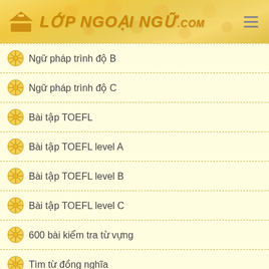LOPNGOAINGG.com
Ngữ pháp trình độ B
Ngữ pháp trình độ C
Bài tập TOEFL
Bài tập TOEFL level A
Bài tập TOEFL level B
Bài tập TOEFL level C
600 bài kiểm tra từ vựng
Tìm từ đồng nghĩa
Tìm từ sai
Video giao tiếp
GMAT Vocabulary
SAT Vocabulary